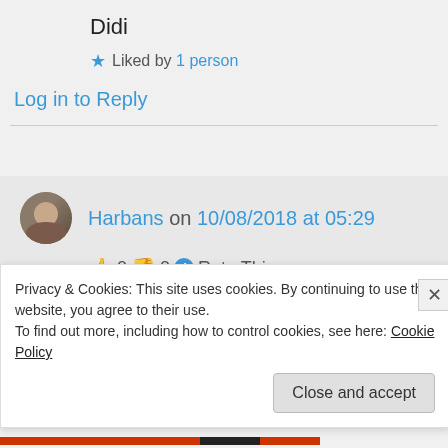Didi
★ Liked by 1 person
Log in to Reply
Harbans on 10/08/2018 at 05:29
👍 0 👎 0 ℹ Rate This
Thanks for making us aware of Sant Kirpal Singh Ji's thoughts and
Privacy & Cookies: This site uses cookies. By continuing to use this website, you agree to their use.
To find out more, including how to control cookies, see here: Cookie Policy